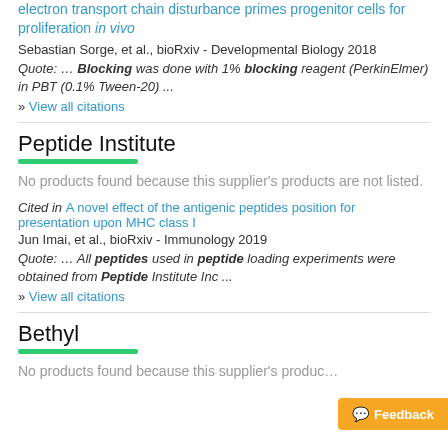electron transport chain disturbance primes progenitor cells for proliferation in vivo
Sebastian Sorge, et al., bioRxiv - Developmental Biology 2018
Quote: … Blocking was done with 1% blocking reagent (PerkinElmer) in PBT (0.1% Tween-20) ...
» View all citations
Peptide Institute
No products found because this supplier's products are not listed.
Cited in A novel effect of the antigenic peptides position for presentation upon MHC class I
Jun Imai, et al., bioRxiv - Immunology 2019
Quote: … All peptides used in peptide loading experiments were obtained from Peptide Institute Inc ...
» View all citations
Bethyl
No products found because this supplier's produc…